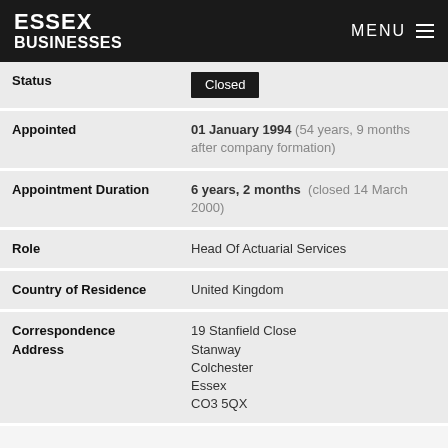ESSEX BUSINESSES | MENU
| Field | Value |
| --- | --- |
| Status | Closed |
| Appointed | 01 January 1994 (54 years, 9 months after company formation) |
| Appointment Duration | 6 years, 2 months (closed 14 March 2000) |
| Role | Head Of Actuarial Services |
| Country of Residence | United Kingdom |
| Correspondence Address | 19 Stanfield Close
Stanway
Colchester
Essex
CO3 5QX |